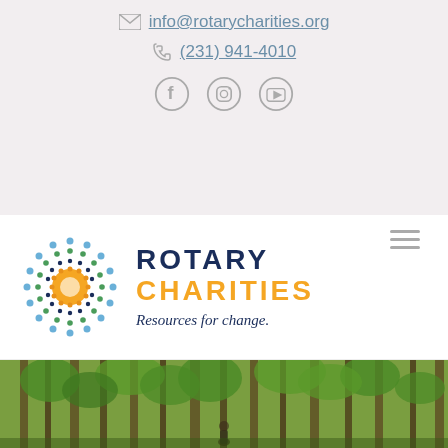info@rotarycharities.org
(231) 941-4010
[Figure (logo): Social media icons: Facebook, Instagram, YouTube]
[Figure (logo): Rotary Charities logo — circular dot pattern with orange sun center, text ROTARY CHARITIES Resources for change.]
[Figure (photo): Forest scene with tall green trees, a person visible at bottom center]